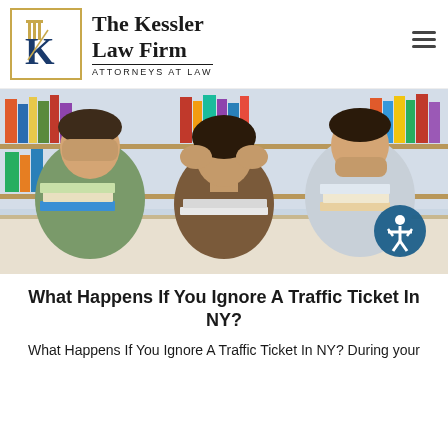The Kessler Law Firm — ATTORNEYS AT LAW
[Figure (photo): Three young people sitting at a library table: left person covering eyes, center person covering ears, right person covering mouth — evoking 'see no evil, hear no evil, speak no evil'. Bookshelves visible in background. An accessibility icon appears in the lower right corner of the image.]
What Happens If You Ignore A Traffic Ticket In NY?
What Happens If You Ignore A Traffic Ticket In NY?  During your